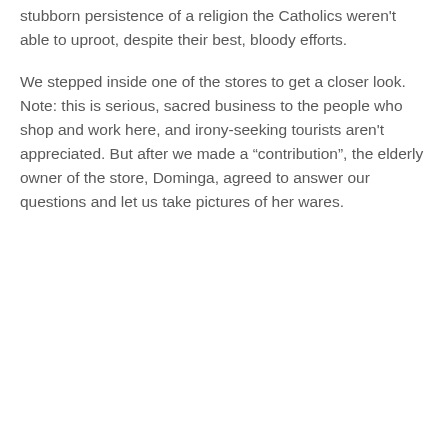stubborn persistence of a religion the Catholics weren't able to uproot, despite their best, bloody efforts.
We stepped inside one of the stores to get a closer look. Note: this is serious, sacred business to the people who shop and work here, and irony-seeking tourists aren't appreciated. But after we made a “contribution”, the elderly owner of the store, Dominga, agreed to answer our questions and let us take pictures of her wares.